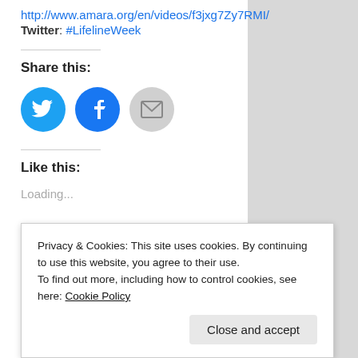http://www.amara.org/en/videos/f3jxg7Zy7RMI/
Twitter: #LifelineWeek
Share this:
[Figure (other): Social sharing buttons: Twitter (blue circle), Facebook (blue circle), Email (grey circle)]
Like this:
Loading...
joly
Privacy & Cookies: This site uses cookies. By continuing to use this website, you agree to their use.
To find out more, including how to control cookies, see here: Cookie Policy
Close and accept
U.N. Special Rapporteur on Freedom of